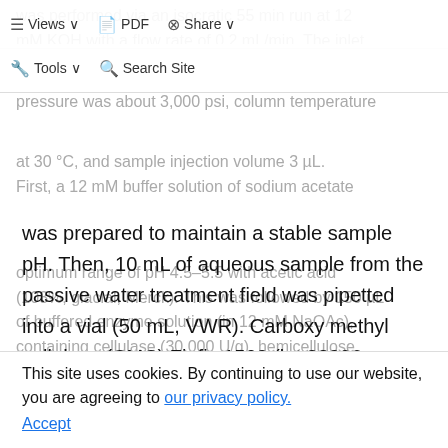Views | PDF | Share
Tools | Search Site
was performed via an isocratic 55 min run at 12 mM KOH with a flow rate of 0.2 mL/min. The inlet pressure was about 3,000 psi, column temperature at 30 °C, and sample injection volume 3 µL. First, a 12 mM buffer solution of sodium acetate was prepared to maintain a stable sample pH. Then, 10 mL of aqueous sample from the passive water treatment field was pipetted into a vial (50 mL, VWR). Carboxy methyl cellulose (CMC) Finfix 1500 (lot 28096 6.2.1989) was used as a method check standard and 25 mg of dry CMC powder was weighted in a vial. Volume of 15 mL of a buffer solution was added and the pH was adjusted to an optimum range of pH 4.5–5.5 with acetic acid (103%, glacial, Merck). This was followed by 150 µL of buffered enzyme solution (in 12 mM NaOAc), containing cellulase (30,000 U/g), hemicellulose
This site uses cookies. By continuing to use our website, you are agreeing to our privacy policy. Accept